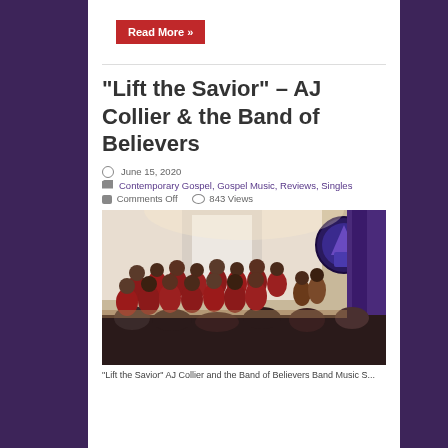Read More »
“Lift the Savior” – AJ Collier & the Band of Believers
June 15, 2020
Contemporary Gospel, Gospel Music, Reviews, Singles
Comments Off   843 Views
[Figure (photo): Choir group dressed in red robes performing in a church with stained glass windows in the background, audience in the foreground.]
“Lift the Savior” AJ Collier and the Band of Believers Band Music S...